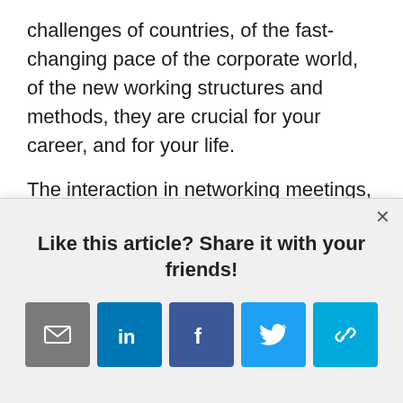challenges of countries, of the fast-changing pace of the corporate world, of the new working structures and methods, they are crucial for your career, and for your life.
The interaction in networking meetings,
[Figure (screenshot): A modal popup with title 'Like this article? Share it with your friends!' and five social sharing buttons: email (grey), LinkedIn (blue), Facebook (dark blue), Twitter (light blue), and a link/share button (cyan).]